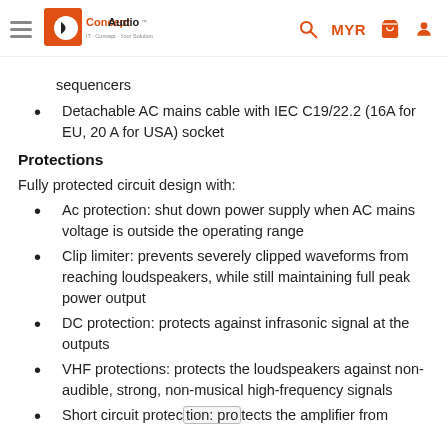Concept Audio — MYR
sequencers
Detachable AC mains cable with IEC C19/22.2 (16A for EU, 20 A for USA) socket
Protections
Fully protected circuit design with:
Ac protection: shut down power supply when AC mains voltage is outside the operating range
Clip limiter: prevents severely clipped waveforms from reaching loudspeakers, while still maintaining full peak power output
DC protection: protects against infrasonic signal at the outputs
VHF protections: protects the loudspeakers against non-audible, strong, non-musical high-frequency signals
Short circuit protection: protects the amplifier from